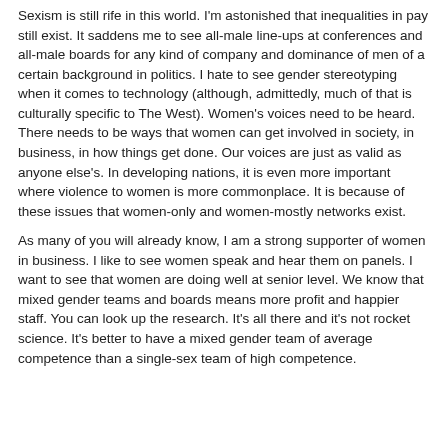Sexism is still rife in this world. I'm astonished that inequalities in pay still exist. It saddens me to see all-male line-ups at conferences and all-male boards for any kind of company and dominance of men of a certain background in politics. I hate to see gender stereotyping when it comes to technology (although, admittedly, much of that is culturally specific to The West). Women's voices need to be heard. There needs to be ways that women can get involved in society, in business, in how things get done. Our voices are just as valid as anyone else's. In developing nations, it is even more important where violence to women is more commonplace. It is because of these issues that women-only and women-mostly networks exist.
As many of you will already know, I am a strong supporter of women in business. I like to see women speak and hear them on panels. I want to see that women are doing well at senior level. We know that mixed gender teams and boards means more profit and happier staff. You can look up the research. It's all there and it's not rocket science. It's better to have a mixed gender team of average competence than a single-sex team of high competence.